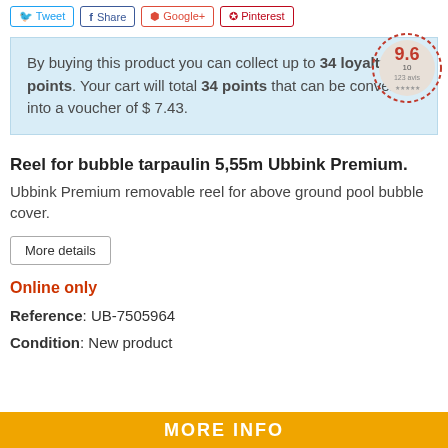Tweet | Share | Google+ | Pinterest
By buying this product you can collect up to 34 loyalty points. Your cart will total 34 points that can be converted into a voucher of $ 7.43.
Reel for bubble tarpaulin 5,55m Ubbink Premium.
Ubbink Premium removable reel for above ground pool bubble cover.
More details
Online only
Reference: UB-7505964
Condition: New product
MORE INFO